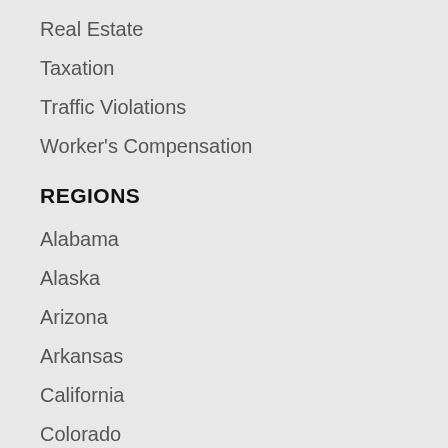Real Estate
Taxation
Traffic Violations
Worker's Compensation
REGIONS
Alabama
Alaska
Arizona
Arkansas
California
Colorado